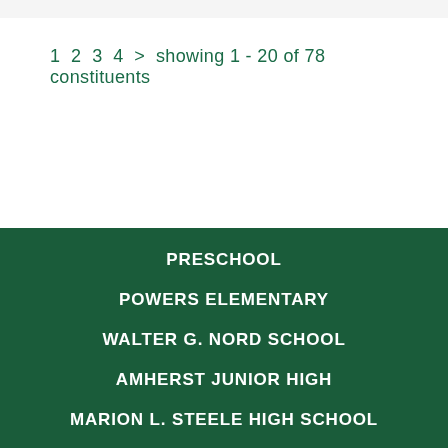1  2  3  4  >  showing 1 - 20 of 78 constituents
PRESCHOOL
POWERS ELEMENTARY
WALTER G. NORD SCHOOL
AMHERST JUNIOR HIGH
MARION L. STEELE HIGH SCHOOL
Amherst Junior High School
540 Milan Ave., Amherst, OH 44001 Tel: (440) 988-4381